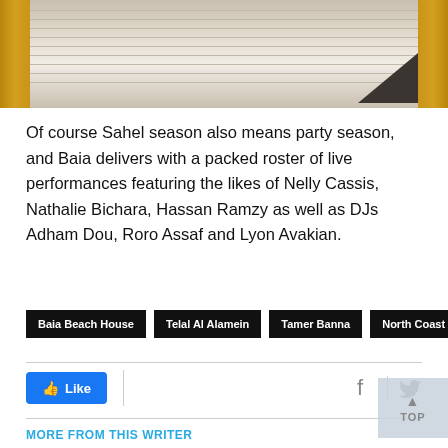[Figure (photo): Partial photo of wooden beach chairs/loungers with striped fabric, cropped at top of page]
Of course Sahel season also means party season, and Baia delivers with a packed roster of live performances featuring the likes of Nelly Cassis, Nathalie Bichara, Hassan Ramzy as well as DJs Adham Dou, Roro Assaf and Lyon Avakian.
Baia Beach House
Telal Al Alamein
Tamer Banna
North Coast
Like
MORE FROM THIS WRITER